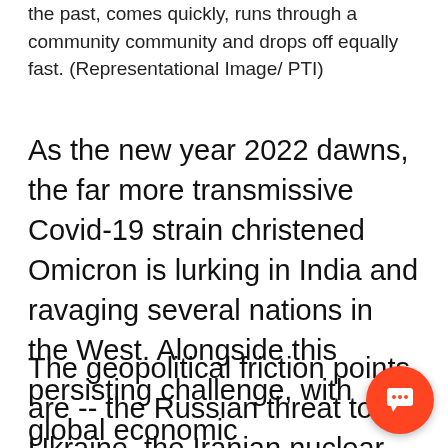the past, comes quickly, runs through a community community and drops off equally fast. (Representational Image/ PTI)
As the new year 2022 dawns, the far more transmissive Covid-19 strain christened Omicron is lurking in India and ravaging several nations in the West. Alongside this persisting challenge, with global economic consequences, a number of geopolitical friction points are also looming. What then does the new year really augur?
The geopolitical friction points are -- the Russian threat to Ukraine, the Iranian nuclear programme and Israeli “red li... and Chinese jingoism over Taiwan and its